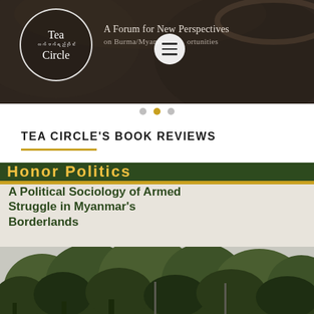[Figure (logo): Tea Circle website header banner with circular logo containing 'Tea Circle' text and Myanmar script, hamburger menu icon, and tagline 'A Forum for New Perspectives on Burma/Myanmar']
TEA CIRCLE'S BOOK REVIEWS
[Figure (photo): Book cover image: 'A Political Sociology of Armed Struggle in Myanmar's Borderlands' with dark green header bar, gold stripe, title text, and forest/jungle photograph background]